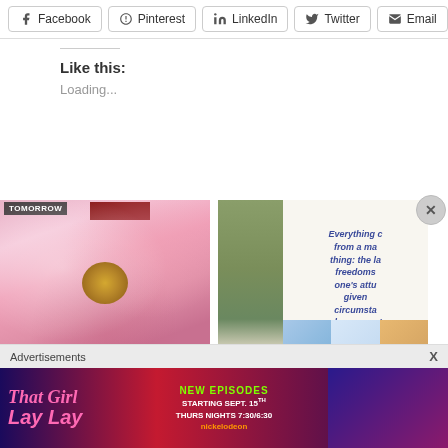[Figure (screenshot): Social share buttons row: Facebook, Pinterest, LinkedIn, Twitter, Email]
Like this:
Loading...
[Figure (photo): Pink peony flower close-up with yellow center, with TOMORROW label and red bar at top]
Photo Challenge: Wish For International
[Figure (photo): Inspirational quote image with plant and collage tiles: Everything c... from a ma... thing: the la... freedoms... one's attu... given... circumsta... choose one'... Viktor E...]
Hello world!
[Figure (screenshot): Advertisement banner: That Girl Lay Lay - New Episodes Starting Sept. 15th Thurs Nights 7:30/6:30 Nickelodeon]